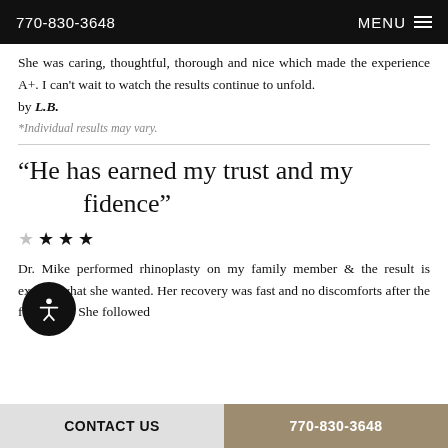770-830-3648   MENU
She was caring, thoughtful, thorough and nice which made the experience A+. I can't wait to watch the results continue to unfold.
by L.B.
*Individual results may vary.
“He has earned my trust and my confidence”
★ ★ ★
Dr. Mike performed rhinoplasty on my family member & the result is exactly what she wanted. Her recovery was fast and no discomforts after the first week. She followed
CONTACT US   770-830-3648